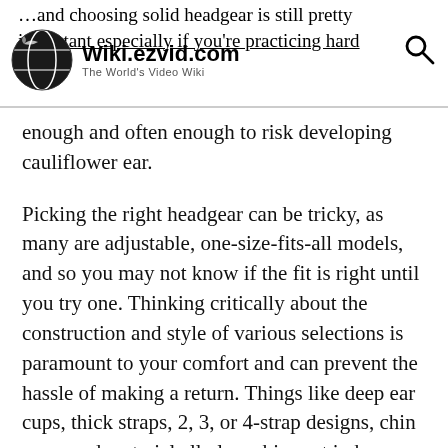Wiki.ezvid.com — The World's Video Wiki
enough and often enough to risk developing cauliflower ear.
Picking the right headgear can be tricky, as many are adjustable, one-size-fits-all models, and so you may not know if the fit is right until you try one. Thinking critically about the construction and style of various selections is paramount to your comfort and can prevent the hassle of making a return. Things like deep ear cups, thick straps, 2, 3, or 4-strap designs, chin cups, and material all play a big part in how your gear will feel. You may have to try a few before you get the perfect one.
Our latest update saw the removal of the Asics Unrestrained, which became unavailable. We